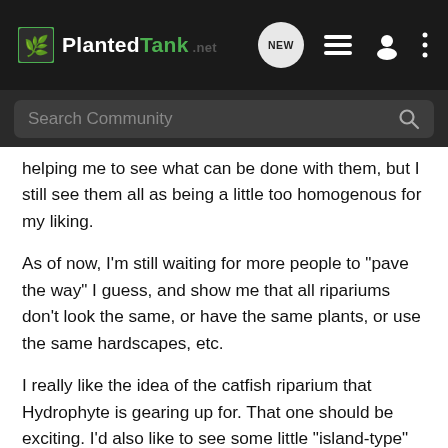PlantedTank — NEW
Search Community
helping me to see what can be done with them, but I still see them all as being a little too homogenous for my liking.
As of now, I'm still waiting for more people to "pave the way" I guess, and show me that all ripariums don't look the same, or have the same plants, or use the same hardscapes, etc.
I really like the idea of the catfish riparium that Hydrophyte is gearing up for. That one should be exciting. I'd also like to see some little "island-type" ripariums, based around a natural snag that occurs in the middle of a river. Or a brackish mangrove shoreline riparium would be cool! I'm also waiting for the DIY'ers to get a hold of these ripariums and find interesting and clever ways to feature the submerged portion better, like with some illumination, or some cool rockscapes, so that there can be more of an aquafish element too.